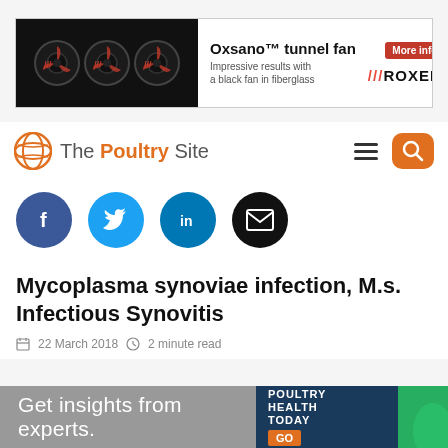[Figure (illustration): Oxsano tunnel fan advertisement banner with Roxell branding showing three black fans and text]
[Figure (logo): The Poultry Site logo with orange globe icon, navigation hamburger menu, and orange search button]
[Figure (illustration): Social media sharing icons: Facebook (blue), Twitter (light blue), LinkedIn (blue), Email (black)]
Mycoplasma synoviae infection, M.s. Infectious Synovitis
22 March 2018  •  2 minute read
[Figure (illustration): Bottom banner ad: Get insights from experts. Poultry Health Today GO button with green leaf decoration]